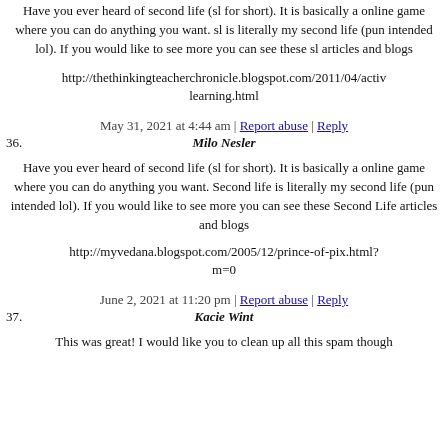Have you ever heard of second life (sl for short). It is basically a online game where you can do anything you want. sl is literally my second life (pun intended lol). If you would like to see more you can see these sl articles and blogs
http://thethinkingteacherchronicle.blogspot.com/2011/04/activ learning.html
May 31, 2021 at 4:44 am | Report abuse | Reply
36. Milo Nesler
Have you ever heard of second life (sl for short). It is basically a online game where you can do anything you want. Second life is literally my second life (pun intended lol). If you would like to see more you can see these Second Life articles and blogs
http://myvedana.blogspot.com/2005/12/prince-of-pix.html?m=0
June 2, 2021 at 11:20 pm | Report abuse | Reply
37. Kacie Wint
This was great! I would like you to clean up all this spam though